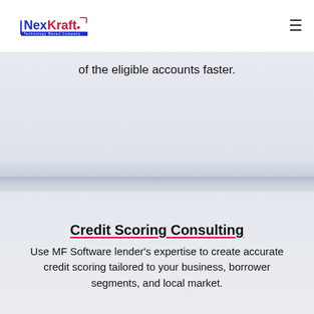NexKraft Technology Based Company
of the eligible accounts faster.
Credit Scoring Consulting
Use MF Software lender's expertise to create accurate credit scoring tailored to your business, borrower segments, and local market.